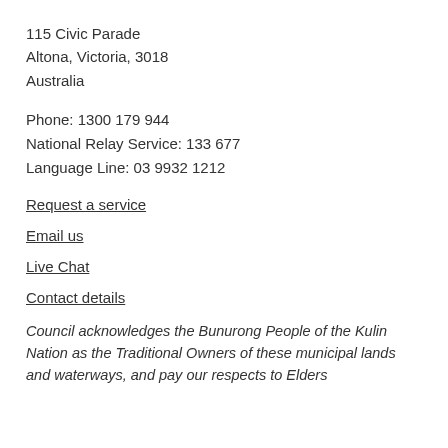115 Civic Parade
Altona, Victoria, 3018
Australia
Phone: 1300 179 944
National Relay Service: 133 677
Language Line: 03 9932 1212
Request a service
Email us
Live Chat
Contact details
Council acknowledges the Bunurong People of the Kulin Nation as the Traditional Owners of these municipal lands and waterways, and pay our respects to Elders